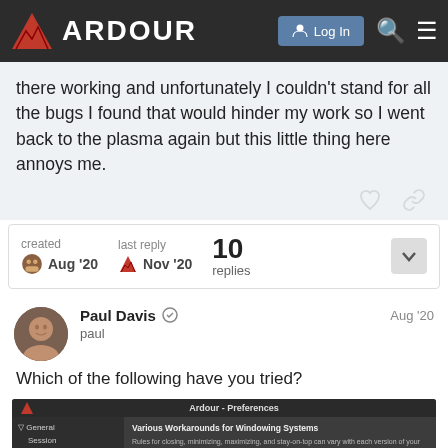[Figure (screenshot): Ardour forum website header with logo (red triangle and ARDOUR text), Log In button, search icon, and hamburger menu icon on dark background]
there working and unfortunately I couldn't stand for all the bugs I found that would hinder my work so I went back to the plasma again but this little thing here annoys me.
created Aug '20   last reply Nov '20   10 replies
Paul Davis ◉ paul   Aug '20
Which of the following have you tried?
[Figure (screenshot): Ardour Preferences dialog screenshot showing left panel with General, Session, Translation, Editor, Snap, Modifiers, Mixer sections and right panel with 'Various Workarounds for Windowing Systems' heading and description text]
1 / 11